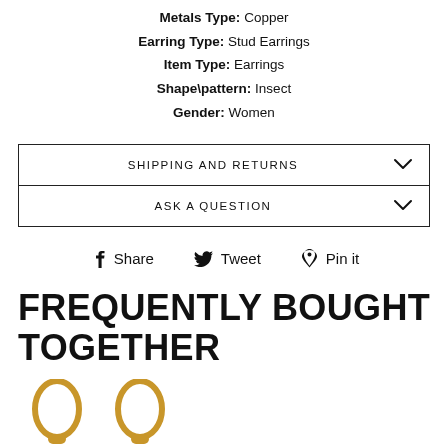Metals Type: Copper
Earring Type: Stud Earrings
Item Type: Earrings
Shape\pattern: Insect
Gender: Women
SHIPPING AND RETURNS
ASK A QUESTION
Share  Tweet  Pin it
FREQUENTLY BOUGHT TOGETHER
[Figure (photo): Two gold hoop earrings partially visible at bottom of page]